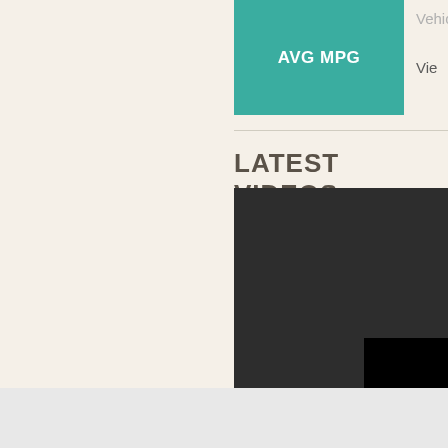AVG MPG
Vehicle
Vie
LATEST VIDEOS
[Figure (screenshot): Video player area with dark gray background showing a black error overlay box containing the text 'The vide... (Errc...' indicating a video playback error]
The vide

(Errc